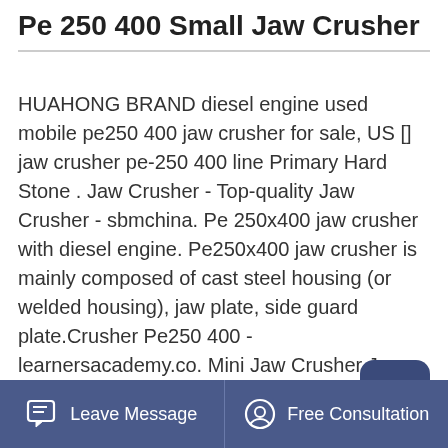Pe 250 400 Small Jaw Crusher
HUAHONG BRAND diesel engine used mobile pe250 400 jaw crusher for sale, US [] jaw crusher pe-250 400 line Primary Hard Stone . Jaw Crusher - Top-quality Jaw Crusher - sbmchina. Pe 250x400 jaw crusher with diesel engine. Pe250x400 jaw crusher is mainly composed of cast steel housing (or welded housing), jaw plate, side guard plate.Crusher Pe250 400 - learnersacademy.co. Mini Jaw Crusher Jaw Stone Crusher Pe 400 Jaw mini jaw crusher jaw stone crusher PE 400 jaw crusher for sale small stone crusher machine price in india torg jaw crusher pexatithipalace. torg jaw crusher pe .Jaw Plate Use In Single Toggle Jaw Crusher In India. jaw crusher spares made in china supplier, pexjaw.Small Jaw crusher capacity – Hot model PE250,PE400,PE500. Our
Leave Message   Free Consultation